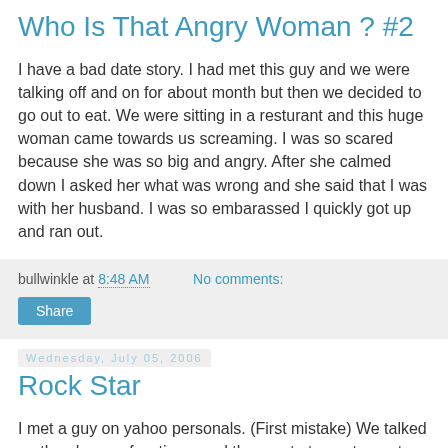Who Is That Angry Woman ? #2
I have a bad date story. I had met this guy and we were talking off and on for about month but then we decided to go out to eat. We were sitting in a resturant and this huge woman came towards us screaming. I was so scared because she was so big and angry. After she calmed down I asked her what was wrong and she said that I was with her husband. I was so embarassed I quickly got up and ran out.
bullwinkle at 8:48 AM   No comments:
Share
Wednesday, July 05, 2006
Rock Star
I met a guy on yahoo personals. (First mistake) We talked on the phone a few times and then met at a restaurant. He smiled (front tooth missing). It turns out he was at least 25